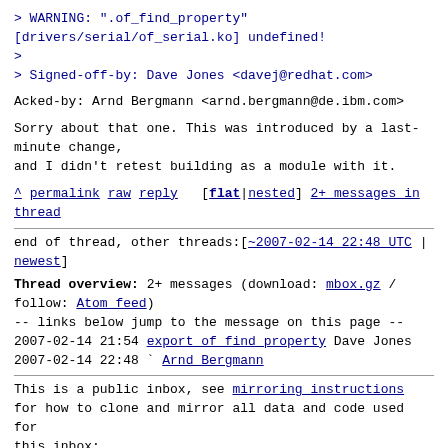> WARNING: ".of_find_property" [drivers/serial/of_serial.ko] undefined!
>
> Signed-off-by: Dave Jones <davej@redhat.com>
Acked-by: Arnd Bergmann <arnd.bergmann@de.ibm.com>
Sorry about that one. This was introduced by a last-minute change,
and I didn't retest building as a module with it.
^ permalink raw reply [flat|nested] 2+ messages in thread
end of thread, other threads:[~2007-02-14 22:48 UTC | newest]
Thread overview: 2+ messages (download: mbox.gz / follow: Atom feed)
-- links below jump to the message on this page --
2007-02-14 21:54 export of find property Dave Jones
2007-02-14 22:48 ` Arnd Bergmann
This is a public inbox, see mirroring instructions
for how to clone and mirror all data and code used for this inbox;
as well as URLs for NNTP newsgroup(s).